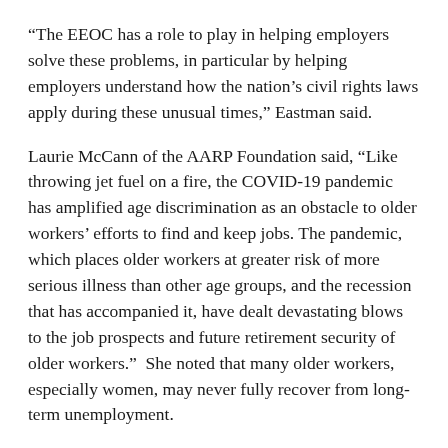“The EEOC has a role to play in helping employers solve these problems, in particular by helping employers understand how the nation’s civil rights laws apply during these unusual times,” Eastman said.
Laurie McCann of the AARP Foundation said, “Like throwing jet fuel on a fire, the COVID-19 pandemic has amplified age discrimination as an obstacle to older workers’ efforts to find and keep jobs. The pandemic, which places older workers at greater risk of more serious illness than other age groups, and the recession that has accompanied it, have dealt devastating blows to the job prospects and future retirement security of older workers.”  She noted that many older workers, especially women, may never fully recover from long-term unemployment.
Amrith Kaur of the Sikh Coalition testified about how the